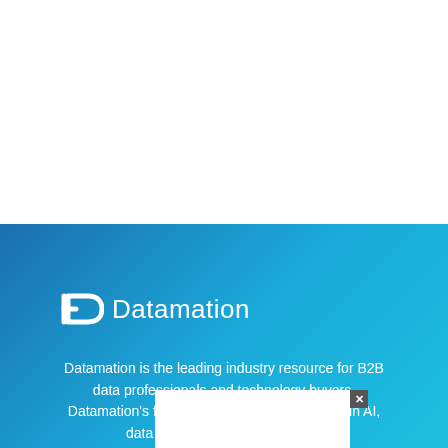[Figure (logo): Datamation logo with white stylized D icon and white text 'Datamation' on blue gradient background]
Datamation is the leading industry resource for B2B data professionals and technology buyers. Datamation's focus is on providing in AI, data se product